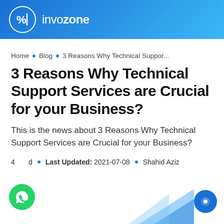invozone
Home • Blog • 3 Reasons Why Technical Suppor...
3 Reasons Why Technical Support Services are Crucial for your Business?
This is the news about 3 Reasons Why Technical Support Services are Crucial for your Business?
4 min read • Last Updated: 2021-07-08 • Shahid Aziz